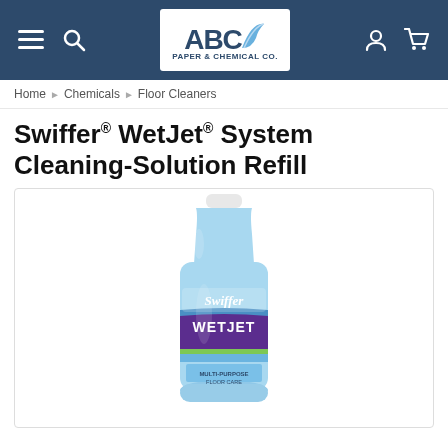ABC Paper & Chemical Co. — navigation header
Home › Chemicals › Floor Cleaners
Swiffer® WetJet® System Cleaning-Solution Refill
[Figure (photo): Swiffer WetJet cleaning solution refill bottle, blue plastic bottle with white cap, purple and blue label reading 'Swiffer WETJET', shown on white background inside a light-bordered box.]